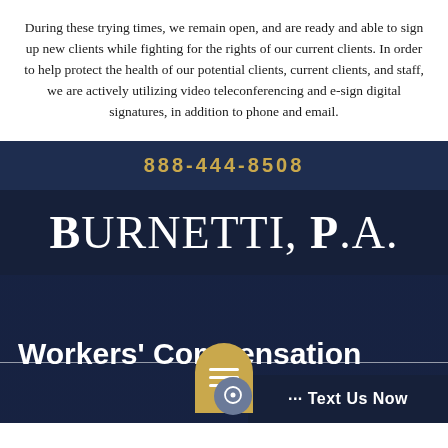During these trying times, we remain open, and are ready and able to sign up new clients while fighting for the rights of our current clients. In order to help protect the health of our potential clients, current clients, and staff, we are actively utilizing video teleconferencing and e-sign digital signatures, in addition to phone and email.
888-444-8508
Burnetti, P.A.
Workers' Compensation
··· Text Us Now